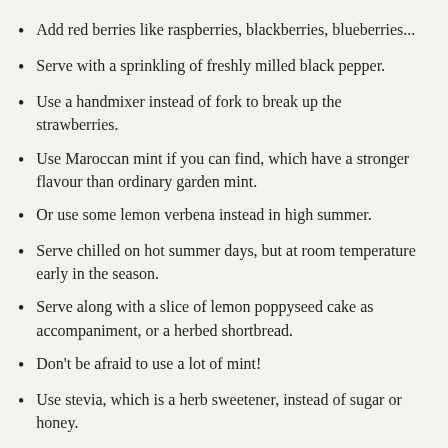Add red berries like raspberries, blackberries, blueberries...
Serve with a sprinkling of freshly milled black pepper.
Use a handmixer instead of fork to break up the strawberries.
Use Maroccan mint if you can find, which have a stronger flavour than ordinary garden mint.
Or use some lemon verbena instead in high summer.
Serve chilled on hot summer days, but at room temperature early in the season.
Serve along with a slice of lemon poppyseed cake as accompaniment, or a herbed shortbread.
Don't be afraid to use a lot of mint!
Use stevia, which is a herb sweetener, instead of sugar or honey.